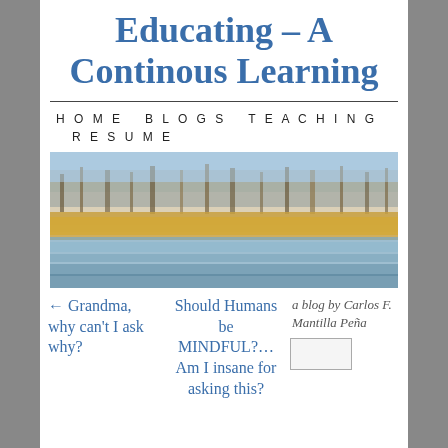Educating – A Continous Learning
HOME
BLOGS
TEACHING
RESUME
[Figure (photo): Landscape photo of a river or lake with bare winter trees and dry golden reeds along the bank under a blue sky]
← Grandma, why can't I ask why?
Should Humans be MINDFUL?… Am I insane for asking this?
a blog by Carlos F. Mantilla Peña